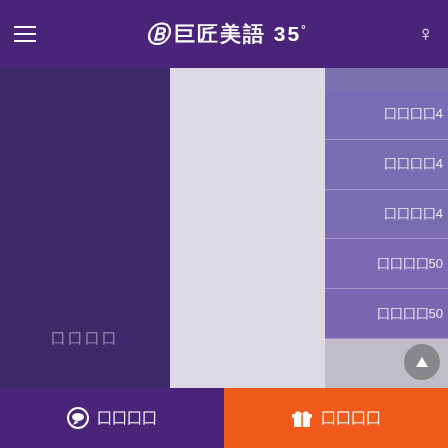巨匠美語35
囗囗囗囗
囗囗囗囗4
囗囗囗囗4
囗囗囗囗4
囗囗囗囗50
囗囗囗囗50
囗囗囗囗 囗囗囗囗